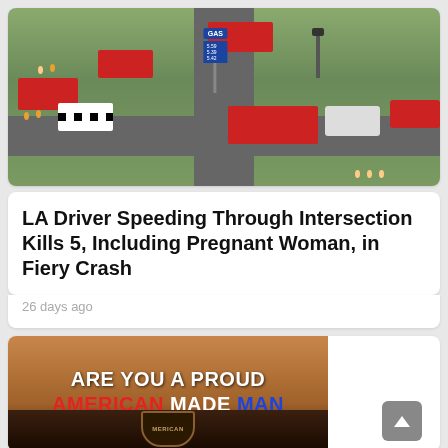[Figure (photo): Aerial view of emergency scene at intersection with fire trucks, police car, and other vehicles. Emergency responders in yellow/orange gear visible.]
LA Driver Speeding Through Intersection Kills 5, Including Pregnant Woman, in Fiery Crash
26 days ago
[Figure (photo): Promotional image with text 'ARE YOU A PROUD AMERICAN MADE MAN' over a wood-tone background with an emblem/patch at the bottom.]